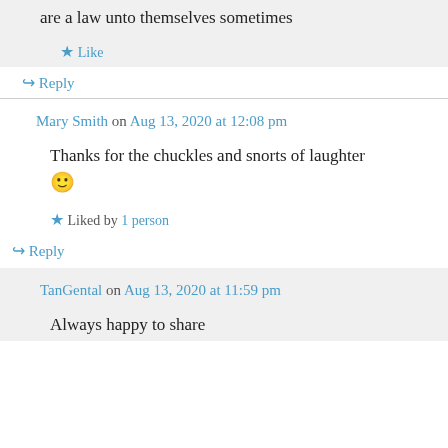are a law unto themselves sometimes
★ Like
↪ Reply
Mary Smith on Aug 13, 2020 at 12:08 pm
Thanks for the chuckles and snorts of laughter 🙂
★ Liked by 1 person
↪ Reply
TanGental on Aug 13, 2020 at 11:59 pm
Always happy to share